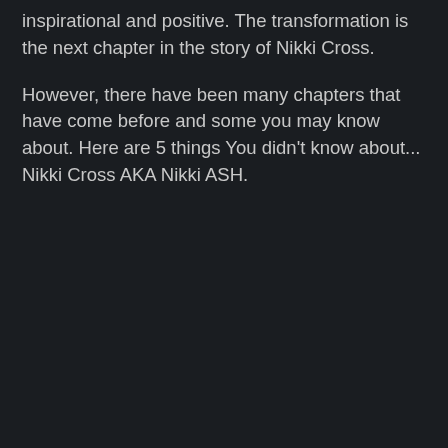inspirational and positive. The transformation is the next chapter in the story of Nikki Cross.
However, there have been many chapters that have come before and some you may know about. Here are 5 things You didn't know about... Nikki Cross AKA Nikki ASH.